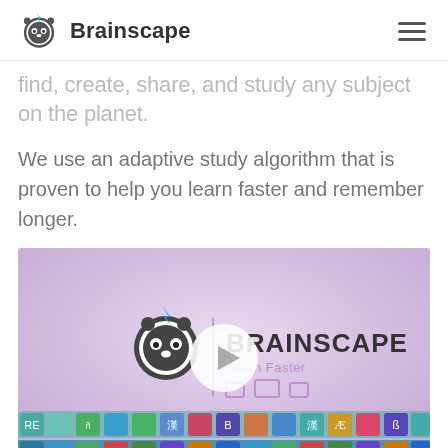Brainscape
find, create, share, and study any subject on the planet.
We use an adaptive study algorithm that is proven to help you learn faster and remember longer.
[Figure (screenshot): Brainscape video thumbnail showing the Brainscape logo with a play button overlay and a grid of subject icons at the bottom]